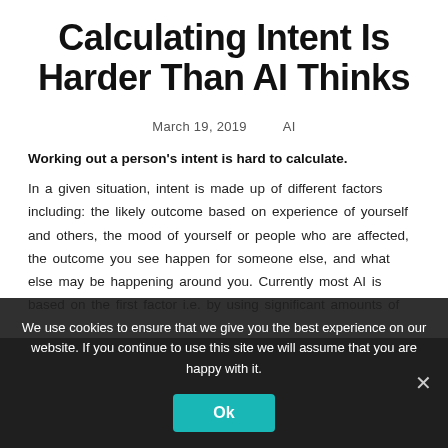Calculating Intent Is Harder Than AI Thinks
March 19, 2019    AI
Working out a person's intent is hard to calculate. In a given situation, intent is made up of different factors including: the likely outcome based on experience of yourself and others, the mood of yourself or people who are affected, the outcome you see happen for someone else, and what else may be happening around you. Currently most AI is based on the first factor i.e. by using significant amounts of
We use cookies to ensure that we give you the best experience on our website. If you continue to use this site we will assume that you are happy with it.